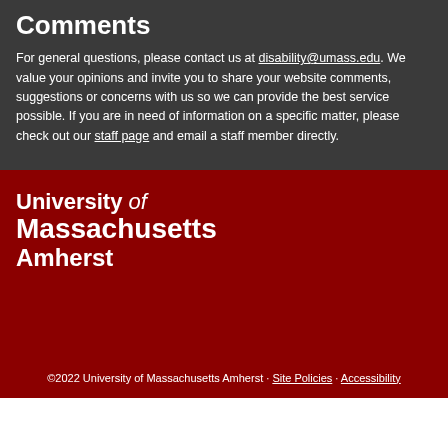Comments
For general questions, please contact us at disability@umass.edu. We value your opinions and invite you to share your website comments, suggestions or concerns with us so we can provide the best service possible. If you are in need of information on a specific matter, please check out our staff page and email a staff member directly.
[Figure (logo): University of Massachusetts Amherst logo in white text on dark red background]
©2022 University of Massachusetts Amherst · Site Policies · Accessibility